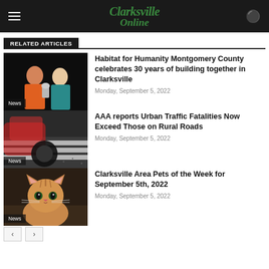Clarksville Online
RELATED ARTICLES
[Figure (photo): Two women posing together at an event, one in orange top and one in black top with teal jacket, dark background]
Habitat for Humanity Montgomery County celebrates 30 years of building together in Clarksville
Monday, September 5, 2022
[Figure (photo): Close-up of car wheel on wet road with a crosswalk, motion blur, red car]
AAA reports Urban Traffic Fatalities Now Exceed Those on Rural Roads
Monday, September 5, 2022
[Figure (photo): Orange tabby kitten looking at camera against a dark background]
Clarksville Area Pets of the Week for September 5th, 2022
Monday, September 5, 2022